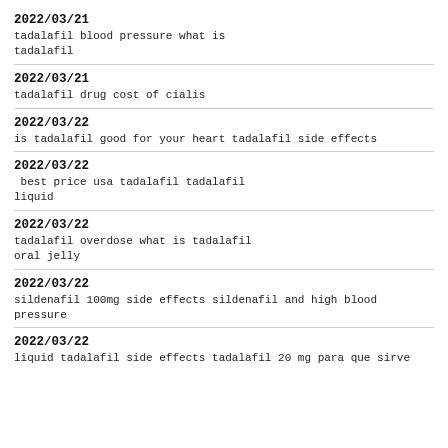2022/03/21
tadalafil blood pressure  what is tadalafil
2022/03/21
tadalafil drug  cost of cialis
2022/03/22
is tadalafil good for your heart  tadalafil side effects
2022/03/22
 best price usa tadalafil  tadalafil liquid
2022/03/22
tadalafil overdose  what is tadalafil oral jelly
2022/03/22
sildenafil 100mg side effects  sildenafil and high blood pressure
2022/03/22
liquid tadalafil side effects  tadalafil 20 mg para que sirve